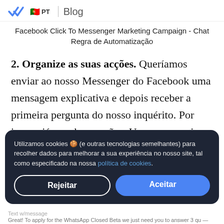PT | Blog
Facebook Click To Messenger Marketing Campaign - Chat Regra de Automatização
2. Organize as suas acções. Queríamos enviar ao nosso Messenger do Facebook uma mensagem explicativa e depois receber a primeira pergunta do nosso inquérito. Por isso, criámos duas acções. Uma para enviar uma mensagem e a outra para
Utilizamos cookies 🍪 (e outras tecnologias semelhantes) para recolher dados para melhorar a sua experiência no nosso site, tal como especificado na nossa política de cookies.
Rejeitar
Aceitar
Text w/message
Great! To apply for the WhatsApp Closed Beta we just need you to answer 3 qu —